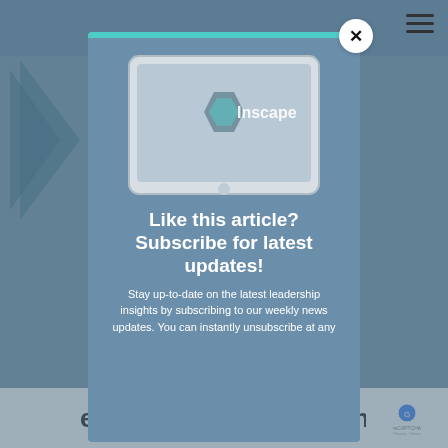[Figure (screenshot): A modal popup overlay on a webpage. The modal has a teal top bar, a close button (X) in the top right, an illustration of a tablet device with the Inscape logo, bold white title text 'Like this article? Subscribe for latest updates!', and white body text about subscribing to weekly news updates. Behind the modal, a partially visible webpage shows a navigation bar and bottom text reading 'effectiveness, consistency,'.]
Like this article? Subscribe for latest updates!
Stay up-to-date on the latest leadership insights by subscribing to our weekly news updates. You can instantly unsubscribe at any
effectiveness, consistency,